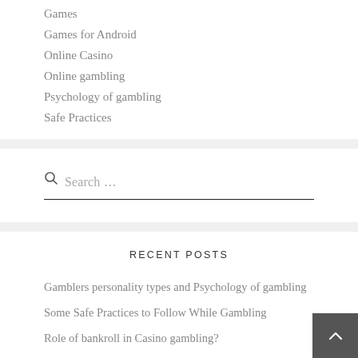Games
Games for Android
Online Casino
Online gambling
Psychology of gambling
Safe Practices
Search ...
RECENT POSTS
Gamblers personality types and Psychology of gambling
Some Safe Practices to Follow While Gambling
Role of bankroll in Casino gambling?